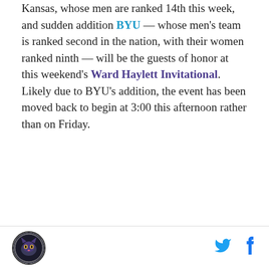Kansas, whose men are ranked 14th this week, and sudden addition BYU — whose men's team is ranked second in the nation, with their women ranked ninth — will be the guests of honor at this weekend's Ward Haylett Invitational. Likely due to BYU's addition, the event has been moved back to begin at 3:00 this afternoon rather than on Friday.
[Figure (logo): Circular logo with dark background and animal/mascot image, footer left]